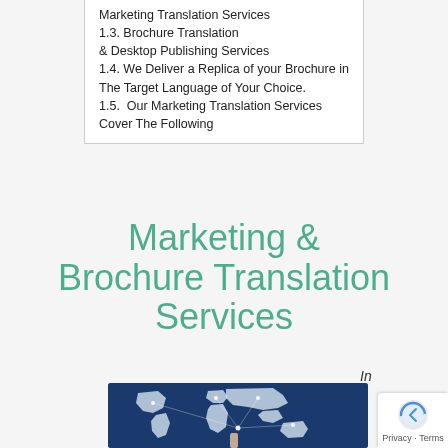Marketing Translation Services
1.3. Brochure Translation & Desktop Publishing Services
1.4. We Deliver a Replica of your Brochure in The Target Language of Your Choice.
1.5.  Our Marketing Translation Services Cover The Following
Marketing & Brochure Translation Services
In
[Figure (photo): A hand pointing at a glowing world map with network connection lines on a dark blue background]